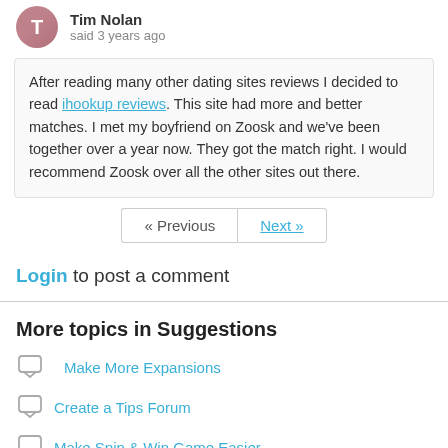Tim Nolan said 3 years ago
After reading many other dating sites reviews I decided to read ihookup reviews. This site had more and better matches. I met my boyfriend on Zoosk and we've been together over a year now. They got the match right. I would recommend Zoosk over all the other sites out there.
« Previous   Next »
Login to post a comment
More topics in Suggestions
Make More Expansions
Create a Tips Forum
Make Spin & Win Game Easier
Cashier Bunny Ears